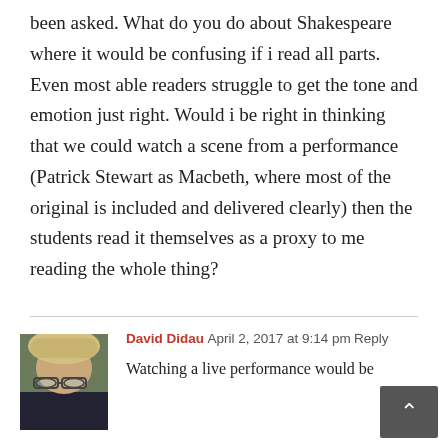been asked. What do you do about Shakespeare where it would be confusing if i read all parts. Even most able readers struggle to get the tone and emotion just right. Would i be right in thinking that we could watch a scene from a performance (Patrick Stewart as Macbeth, where most of the original is included and delivered clearly) then the students read it themselves as a proxy to me reading the whole thing?
[Figure (photo): Avatar photo of David Didau, a person with light wavy hair and glasses]
David Didau  April 2, 2017 at 9:14 pm  Reply
Watching a live performance would be